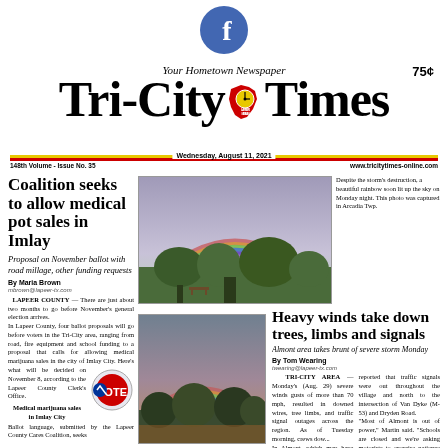[Figure (logo): Facebook logo circle icon, blue background with white f]
Your Hometown Newspaper
Tri-City Times
75¢
148th Volume - Issue No. 35   Wednesday, August 11, 2021   www.tricitytimes-online.com
Coalition seeks to allow medical pot sales in Imlay
Proposal on November ballot with road millage, other funding requests
By Maria Brown
mbrown@lapeer-tx.com
LAPEER COUNTY — There are just about two months to go before November's general election arrives. In Lapeer County, four ballot proposals will go before voters in the Tri-City area, ranging from road, fire equipment and school funding to a proposal that calls for allowing medical marijuana sales in the city of Imlay City. Here's what will be decided on November 8, according to the Lapeer County Clerk's Office.
Medical marijuana sales in Imlay City
Ballot language, submitted by the Lapeer County Cares Coalition, seeks
[Figure (photo): Full double rainbow over green trees in a park or field, purple-gray sky]
Despite the storm's destruction, a beautiful rainbow soon lit up the sky on Monday night. This photo was captured in Arcadia Twp.
[Figure (photo): Bottom of a rainbow over trees with colorful sunset sky, second rainbow photo]
Heavy winds take down trees, limbs and signals
Almont area takes brunt of severe storm Monday
By Tom Wearing
twearing@lapeer-tx.com
TRI-CITY AREA — Monday's (Aug. 29) severe winds gusts of more than 70 mph, resulted in downed wires, tree limbs, and traffic signal outages across the region. As of Tuesday morning, crews dow
In Almont, which may have taken the brunt of the storm, Police Chief Andy Martin reported that traffic signals were out throughout the village and north to the intersection of Van Dyke (M-53) and Dryden Road. "Most of Almont is out of power," Martin said. "Schools are closed and we're asking motorists to exercise patience and extreme caution. "Motorists traveling in the